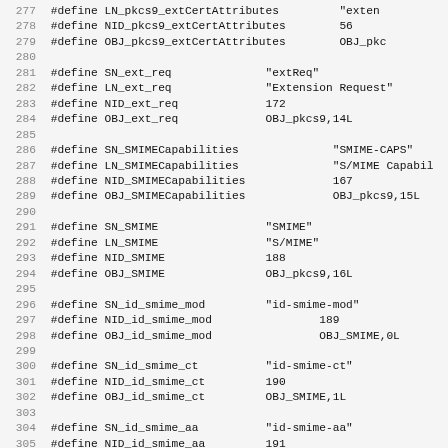277 #define LN_pkcs9_extCertAttributes   "exten...
278 #define NID_pkcs9_extCertAttributes  56
279 #define OBJ_pkcs9_extCertAttributes  OBJ_pkc...
280
281 #define SN_ext_req    "extReq"
282 #define LN_ext_req    "Extension Request"
283 #define NID_ext_req   172
284 #define OBJ_ext_req   OBJ_pkcs9,14L
285
286 #define SN_SMIMECapabilities   "SMIME-CAPS"
287 #define LN_SMIMECapabilities   "S/MIME Capabil...
288 #define NID_SMIMECapabilities  167
289 #define OBJ_SMIMECapabilities  OBJ_pkcs9,15L
290
291 #define SN_SMIME    "SMIME"
292 #define LN_SMIME    "S/MIME"
293 #define NID_SMIME   188
294 #define OBJ_SMIME   OBJ_pkcs9,16L
295
296 #define SN_id_smime_mod   "id-smime-mod"
297 #define NID_id_smime_mod  189
298 #define OBJ_id_smime_mod  OBJ_SMIME,0L
299
300 #define SN_id_smime_ct   "id-smime-ct"
301 #define NID_id_smime_ct  190
302 #define OBJ_id_smime_ct  OBJ_SMIME,1L
303
304 #define SN_id_smime_aa   "id-smime-aa"
305 #define NID_id_smime_aa  191
306 #define OBJ_id_smime_aa  OBJ_SMIME,2L
307
308 #define SN_id_smime_alg   "id-smime-alg"
309 #define NID_id_smime_alg  192